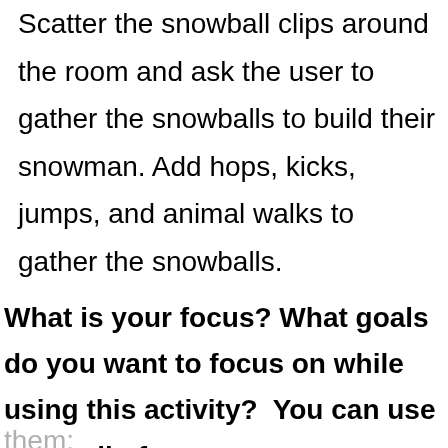Scatter the snowball clips around the room and ask the user to gather the snowballs to build their snowman. Add hops, kicks, jumps, and animal walks to gather the snowballs.
What is your focus? What goals do you want to focus on while using this activity?  You can use on or all of
them: